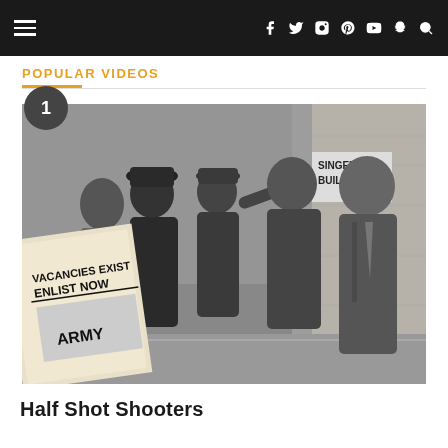Navigation bar with hamburger menu and social icons: f (Facebook), Twitter, Instagram, Pinterest, YouTube, Snapchat, Search
POPULAR VIDEOS
[Figure (photo): Black and white film still showing several people in a physical altercation on a city sidewalk. A sign reads 'VACANCIES EXIST ENLIST NOW ARMY' in the lower left. A building sign reading 'SINGER BUILDING' is visible on the right. A numbered badge '1' appears in the upper left corner of the image.]
Half Shot Shooters